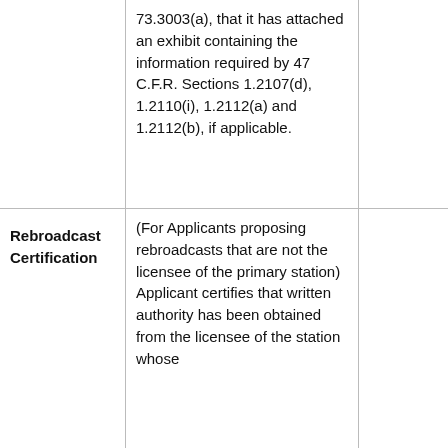|  | 73.3003(a), that it has attached an exhibit containing the information required by 47 C.F.R. Sections 1.2107(d), 1.2110(i), 1.2112(a) and 1.2112(b), if applicable. |  |
| Rebroadcast Certification | (For Applicants proposing rebroadcasts that are not the licensee of the primary station) Applicant certifies that written authority has been obtained from the licensee of the station whose |  |